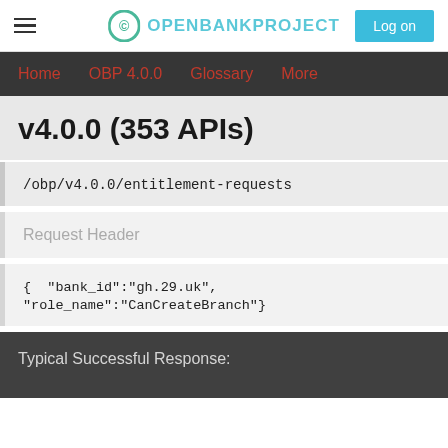Open Bank Project — Log on
Home   OBP 4.0.0   Glossary   More
v4.0.0 (353 APIs)
/obp/v4.0.0/entitlement-requests
Request Header
{ "bank_id":"gh.29.uk",  "role_name":"CanCreateBranch"}
Typical Successful Response: